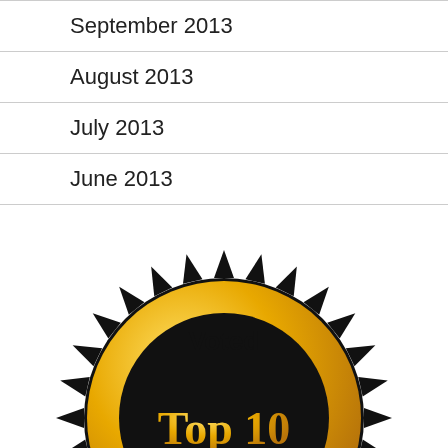September 2013
August 2013
July 2013
June 2013
[Figure (logo): Gold and black sunburst badge with text 'Voted Top 10 vBlog']